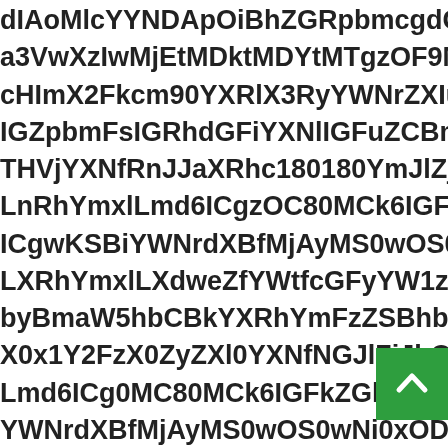dIAoMlcYYNDApOiBhZGRpbmcgdG8gZmluYWwgZc a3VwXzIwMjEtMDktMDYtMTgzOF9MdWNhc19Gcm9 cHImX2Fkcm90YXRlX3RyYWNrZXIudGFibGUudG1w IGZpbmFsIGRhdGFiYXNlIGFuZCBmaWxsIG1hcmtl THVjYXNfRnJJaXRhc180180YmJlZjJhOThkMDgtZGltdG LnRhYmxlLmd6ICgzOC80MCk6IGFkZGluZyBkYyBm ICgwKSBiYWNrdXBfMjAyMS0wOS0wNi0xODM4X0 LXRhYmxlLXdweZfYWtfcGFyYW1zLnRhYmxlLnRt byBmaW5hbCBkYXRhYmFzZSBhbmQgZmlsbCBtYXJr X0x1Y2FzX0ZyZXl0YXNfNGJlZjJhOThkMDgtZGlt Lmd6ICg0MC80MCk6IGFkZGluZyBkYyBmaWxlIG1h YWNrdXBfMjAyMS0wOS0wNi0xODM4X0x1Y2FzXz LXdweZfYWtfcGFyYW1zLnRhYmxlLnRtcEhJvZmIsZXMudGFibGUudG1wHJvZmIsZXMudGdF IGRoZGFiR0ZpYXNlSUdR1bXAKDAxMC4zMTY IGRoZGFiR0ZpYXNlSUdR1YXNlSUdRNzQgKDAx R25JaXRhc185YmJlZmNhOTgkMzQgKDAxNzQgLWR NDIvNDApOiBhZGRpbmcgdG8gZmluYWxZWwgdG jWN XzIwMjEtMDktMDYtMTgzOF9MdWNhc19bm 0GchmvpdC
[Figure (other): Green scroll-to-top button with upward chevron arrow in bottom right corner]